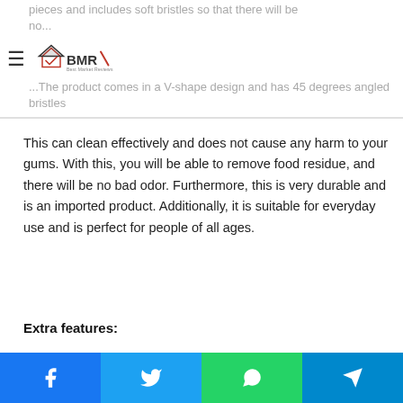pieces and includes soft bristles so that there will be no... The product comes in a V-shape design and has 45 degrees angled bristles
This can clean effectively and does not cause any harm to your gums. With this, you will be able to remove food residue, and there will be no bad odor. Furthermore, this is very durable and is an imported product. Additionally, it is suitable for everyday use and is perfect for people of all ages.
Extra features:
Sleek, classy design for enhanced comfort
Hypo-allergenic material for added safety
Advanced-grade material for enhanced durability
Social share bar: Facebook, Twitter, WhatsApp, Telegram